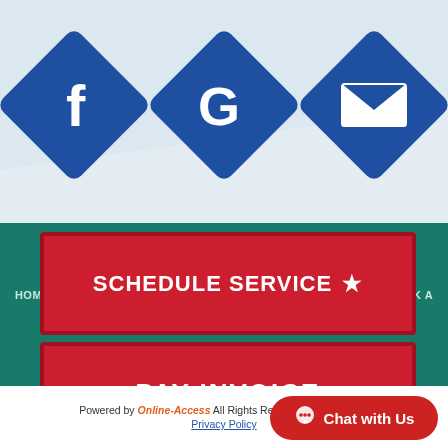[Figure (illustration): Three blue diamond-shaped social/login icons: Facebook (f), Google (G), and Email (envelope), arranged horizontally at the top of the page on a light blue gradient background.]
SCHEDULE SERVICE ★
PAY INVOICE
HOME  |  EMAIL US  |  SCHEDULE SERVICE  |  GET A QUOTE  |  ASK A TECH  |  MAINTENANCE  |  EMPLOYMENT
Powered by Online-Access All Rights Reserved © 2001-2022
Privacy Policy
Chat with Us